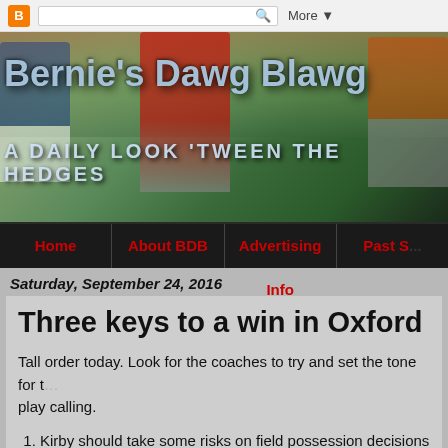[Figure (screenshot): Blogger top navigation bar with orange B icon, search box, and More dropdown]
[Figure (photo): Bernie's Dawg Blawg website header banner with football players and crowd background, showing site title and tagline 'A DAILY LOOK TWEEN THE HEDGES']
[Figure (screenshot): Navigation bar with dark background and red menu items: Home, About BDB, Advertising Info, Past S...]
Saturday, September 24, 2016
Three keys to a win in Oxford
Tall order today. Look for the coaches to try and set the tone for the play calling.
Kirby should take some risks on field possession decisions when faced with fourth and manageable yardage around midfield and certainly deeper into their territory. And when in field goal range develop